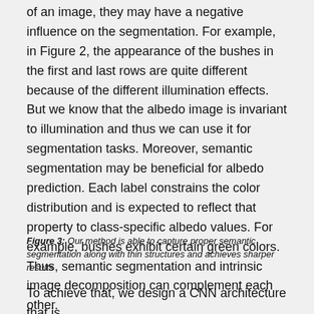of an image, they may have a negative influence on the segmentation. For example, in Figure 2, the appearance of the bushes in the first and last rows are quite different because of the different illumination effects. But we know that the albedo image is invariant to illumination and thus we can use it for segmentation tasks. Moreover, semantic segmentation may be beneficial for albedo prediction. Each label constrains the color distribution and is expected to reflect that property to class-specific albedo values. For example, bushes exhibit certain green colors. Thus, semantic segmentation and intrinsic image decomposition can complement each other.
Figure 3: Our method is able to capture proper semantic segmentation along with thin structures and achieves sharper results
To achieve that, we design a CNN architecture that is